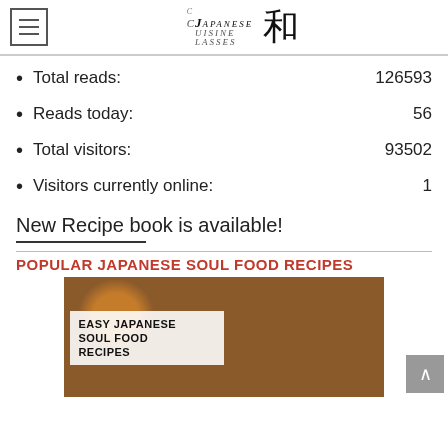Japanese Cuisine Classes logo with hamburger menu
Total reads: 126593
Reads today: 56
Total visitors: 93502
Visitors currently online: 1
New Recipe book is available!
POPULAR JAPANESE SOUL FOOD RECIPES
[Figure (photo): Takoyaki Japanese soul food dish in a pan, with overlay text reading EASY JAPANESE SOUL FOOD RECIPES]